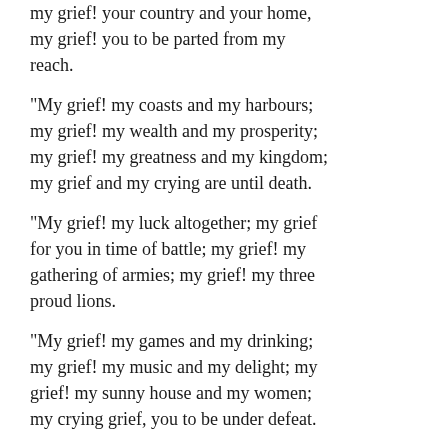my grief! your country and your home, my grief! you to be parted from my reach.
"My grief! my coasts and my harbours; my grief! my wealth and my prosperity; my grief! my greatness and my kingdom; my grief and my crying are until death.
"My grief! my luck altogether; my grief for you in time of battle; my grief! my gathering of armies; my grief! my three proud lions.
"My grief! my games and my drinking; my grief! my music and my delight; my grief! my sunny house and my women; my crying grief, you to be under defeat.
"My grief! my lands and my hunting; my grief! my three sure fighters; Och! my grief! they are my sorrow, to fall far off by the Fianna.
"I knew by the great host of the Sidhe that were fighting over the dun, giving